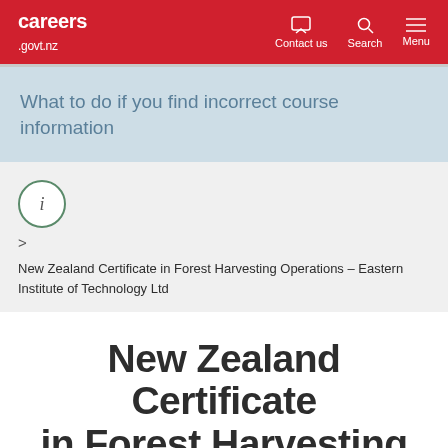careers .govt.nz | Contact us | Search | Menu
What to do if you find incorrect course information
[Figure (other): Info icon circle with letter i]
>
New Zealand Certificate in Forest Harvesting Operations – Eastern Institute of Technology Ltd
New Zealand Certificate in Forest Harvesting